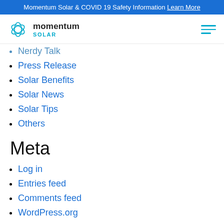Momentum Solar & COVID 19 Safety Information Learn More
[Figure (logo): Momentum Solar logo with circular orbit graphic and company name]
Nerdy Talk
Press Release
Solar Benefits
Solar News
Solar Tips
Others
Meta
Log in
Entries feed
Comments feed
WordPress.org